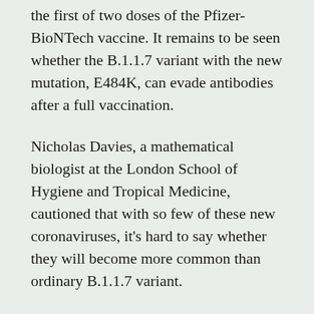the first of two doses of the Pfizer-BioNTech vaccine. It remains to be seen whether the B.1.1.7 variant with the new mutation, E484K, can evade antibodies after a full vaccination.
Nicholas Davies, a mathematical biologist at the London School of Hygiene and Tropical Medicine, cautioned that with so few of these new coronaviruses, it's hard to say whether they will become more common than ordinary B.1.1.7 variant.
But it is striking that the same mutation, E484K, has now been documented arising several times in Britain, as well as in South Africa. Meanwhile, in Brazil, yet another variant has also gained the same E484K mutation on its own.